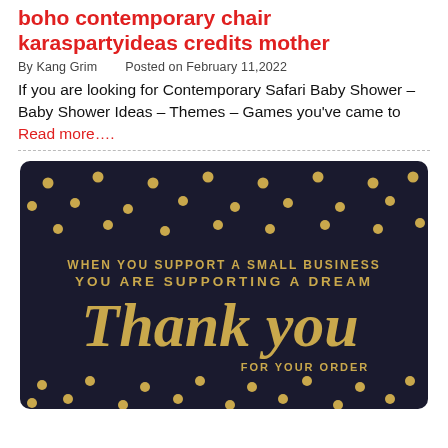boho contemporary chair karaspartyideas credits mother
By Kang Grim   Posted on February 11,2022
If you are looking for Contemporary Safari Baby Shower – Baby Shower Ideas – Themes – Games you've came to
Read more….
[Figure (illustration): Dark navy card with gold polka dots and gold text reading 'WHEN YOU SUPPORT A SMALL BUSINESS YOU ARE SUPPORTING A DREAM' and large cursive 'Thank you FOR YOUR ORDER']